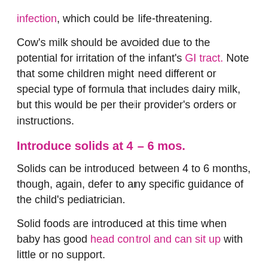infection, which could be life-threatening.
Cow's milk should be avoided due to the potential for irritation of the infant's GI tract. Note that some children might need different or special type of formula that includes dairy milk, but this would be per their provider's orders or instructions.
Introduce solids at 4 – 6 mos.
Solids can be introduced between 4 to 6 months, though, again, defer to any specific guidance of the child's pediatrician.
Solid foods are introduced at this time when baby has good head control and can sit up with little or no support.
Start the infant's solid food diet with iron-fortified infant rice cereal, which is a good